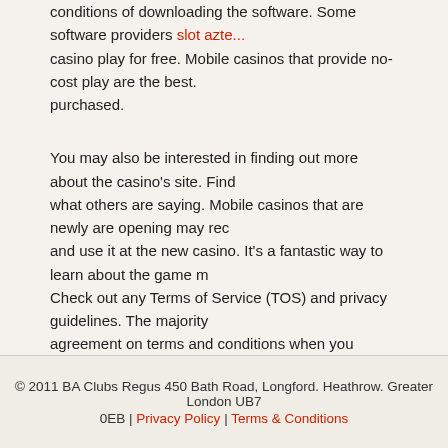conditions of downloading the software. Some software providers slot azte... casino play for free. Mobile casinos that provide no-cost play are the best. purchased.
You may also be interested in finding out more about the casino's site. Find what others are saying. Mobile casinos that are newly are opening may rec... and use it at the new casino. It's a fantastic way to learn about the game m... Check out any Terms of Service (TOS) and privacy guidelines. The majority agreement on terms and conditions when you launch your new mobile cas...
You must select a reputable online source if you want to be successful in o... should choose an established site that provides an extensive selection of c... know about bonus deposits and no-cost slots. Make sure you have the mo... because you'll require a mobile phone to connect to the casino. To enjoy th... experience, you should choose the best mobile casinos.
© 2011 BA Clubs Regus 450 Bath Road, Longford. Heathrow. Greater London UB7 0EB | Privacy Policy | Terms & Conditions